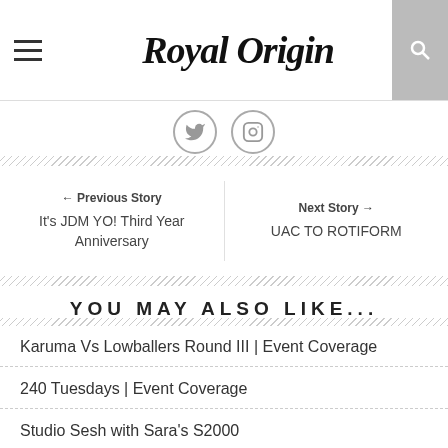Royal Origin
[Figure (illustration): Two social media icons: Twitter and Instagram, displayed as circular outlines with bird and camera icons]
← Previous Story
It's JDM YO! Third Year Anniversary
Next Story →
UAC TO ROTIFORM
YOU MAY ALSO LIKE...
Karuma Vs Lowballers Round III | Event Coverage
240 Tuesdays | Event Coverage
Studio Sesh with Sara's S2000
LEAVE A REPLY